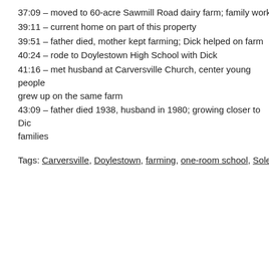37:09 – moved to 60-acre Sawmill Road dairy farm; family worke...
39:11 – current home on part of this property
39:51 – father died, mother kept farming; Dick helped on farm
40:24 – rode to Doylestown High School with Dick
41:16 – met husband at Carversville Church, center young people... grew up on the same farm
43:09 – father died 1938, husband in 1980; growing closer to Dic... families
Tags: Carversville, Doylestown, farming, one-room school, Soleb...